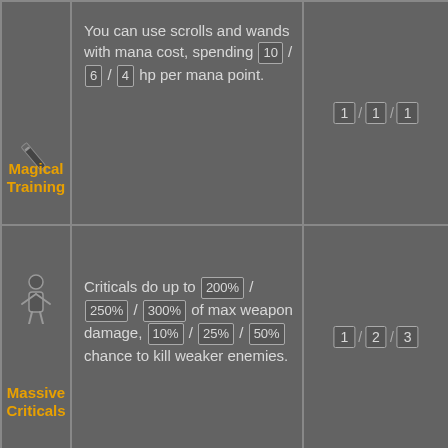[Figure (illustration): Wand/scroll icon for Magical Training skill]
Magical Training
You can use scrolls and wands with mana cost, spending 10 / 6 / 4 hp per mana point.
1 / 1 / 1
[Figure (illustration): Person/humanoid icon for Massive Criticals skill]
Massive Criticals
Criticals do up to 200% / 250% / 300% of max weapon damage, 10% / 25% / 50% chance to kill weaker enemies.
1 / 2 / 3